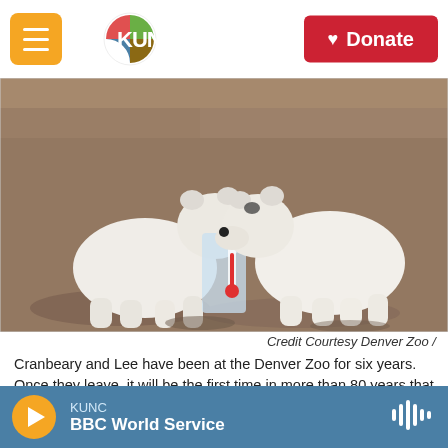KUNC — Donate
[Figure (photo): Two white polar bears facing each other and touching noses, with an ice block between them. Rocky zoo enclosure background. Denver Zoo.]
Credit Courtesy Denver Zoo /
Cranbeary and Lee have been at the Denver Zoo for six years. Once they leave, it will be the first time in more than 80 years that the zoo has not had polar bears.
But the decision to move the bears is being done to protect them, Kubia said. The bears have been
KUNC — BBC World Service